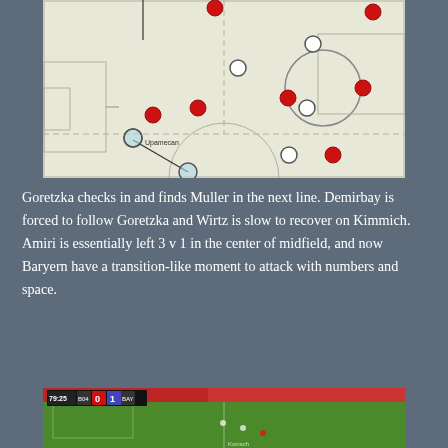[Figure (other): Tactical football pitch diagram showing player positions. White circles represent one team (including players labeled Upamecan and Sule), red filled circles represent Bayern. Lines show player movement/passes. A dashed horizontal line divides the pitch. A circle is drawn in the top-right area around two players.]
Goretzka checks in and finds Muller in the next line. Demirbay is forced to follow Goretzka and Wirtz is slow to recover on Kimmich. Amiri is essentially left 3 v 1 in the center of midfield, and now Baryern have a transition-like moment to attack with numbers and space.
[Figure (screenshot): Match broadcast screenshot showing football pitch from above. Scoreboard in top-left shows 79:25, B04 vs BAY, score 0-1. Red crowd visible in stands at top. Players visible on green pitch.]